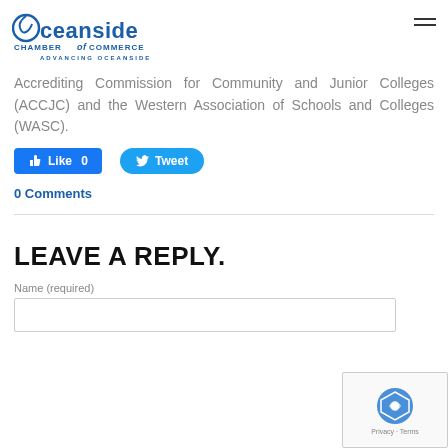Oceanside Chamber of Commerce - Advancing Oceanside
Accrediting Commission for Community and Junior Colleges (ACCJC) and the Western Association of Schools and Colleges (WASC).
[Figure (other): Facebook Like button (0 likes) and Twitter Tweet button]
0 Comments
LEAVE A REPLY.
Name (required)
[Figure (other): reCAPTCHA badge with Privacy and Terms links]